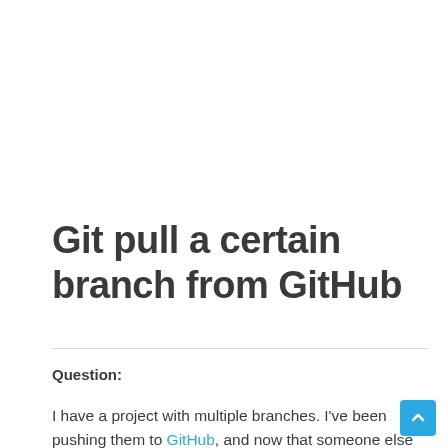Git pull a certain branch from GitHub
Question:
I have a project with multiple branches. I've been pushing them to GitHub, and now that someone else is working